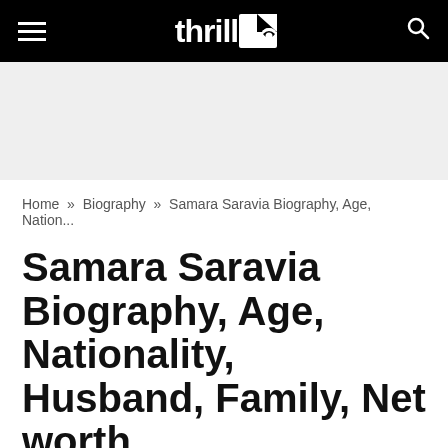thrill ≡ 🔍
[Figure (other): Advertisement / banner placeholder area with light grey background]
Home » Biography » Samara Saravia Biography, Age, Nation...
Samara Saravia Biography, Age, Nationality, Husband, Family, Net worth
By Eddy — Updated: January 16, 2022  💬 No Comments